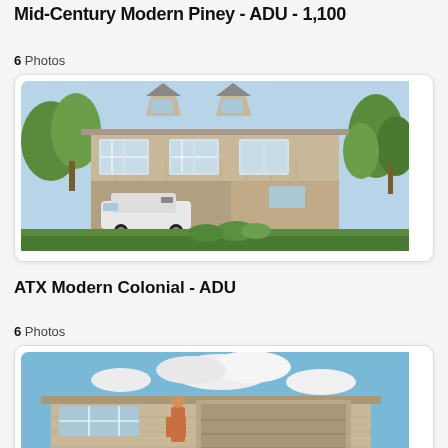Mid-Century Modern Piney - ADU - 1,100
6 Photos
[Figure (photo): Rendering of a two-story modern colonial ADU house with tan/beige siding, multiple windows, dormers, and a carport with a white SUV parked underneath, surrounded by greenery.]
ATX Modern Colonial - ADU
6 Photos
[Figure (photo): Rendering of a single-story mid-century modern ranch-style home with tan/beige siding, large windows, a person standing in front, and a bright blue sky with clouds in the background.]